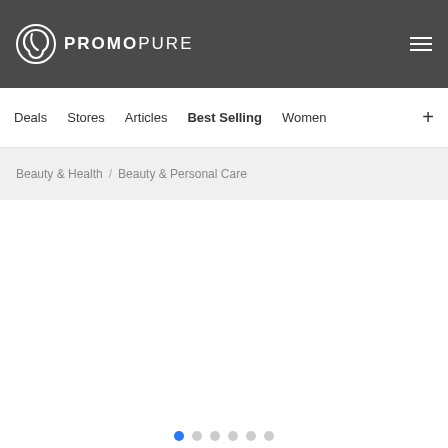PROMOPURE
Deals  Stores  Articles  Best Selling  Women  +
Beauty & Health / Beauty & Personal Care